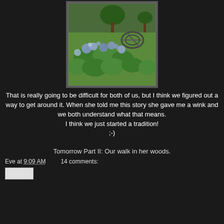[Figure (photo): Garden photo showing hydrangea flowers with blue/purple blooms and large green leaves in the foreground, with green lawn grass and a metal sundial or garden ornament in the background.]
That is really going to be difficult for both of us, but I think we figured out a way to get around it. When she told me this story she gave me a wink and we both understand what that means.
I think we just started a tradition!
;-)
Tomorrow Part II: Our walk in her woods.
Eve at 9:09 AM    14 comments: